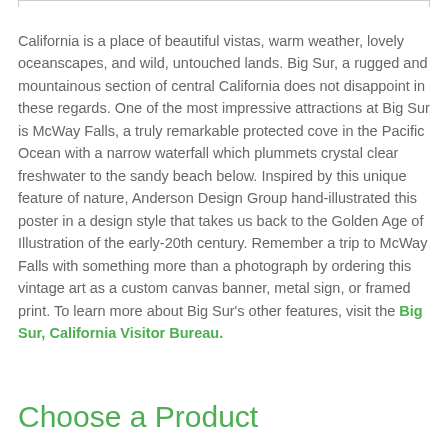California is a place of beautiful vistas, warm weather, lovely oceanscapes, and wild, untouched lands. Big Sur, a rugged and mountainous section of central California does not disappoint in these regards. One of the most impressive attractions at Big Sur is McWay Falls, a truly remarkable protected cove in the Pacific Ocean with a narrow waterfall which plummets crystal clear freshwater to the sandy beach below. Inspired by this unique feature of nature, Anderson Design Group hand-illustrated this poster in a design style that takes us back to the Golden Age of Illustration of the early-20th century. Remember a trip to McWay Falls with something more than a photograph by ordering this vintage art as a custom canvas banner, metal sign, or framed print. To learn more about Big Sur's other features, visit the Big Sur, California Visitor Bureau.
Choose a Product